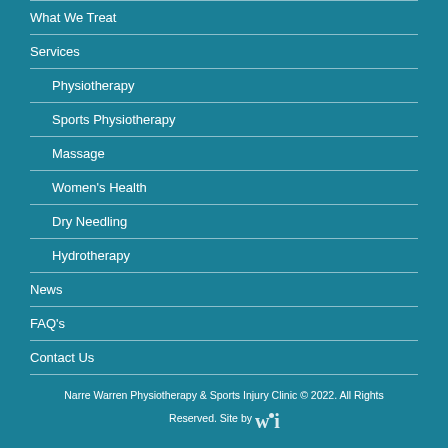What We Treat
Services
Physiotherapy
Sports Physiotherapy
Massage
Women's Health
Dry Needling
Hydrotherapy
News
FAQ's
Contact Us
Narre Warren Physiotherapy & Sports Injury Clinic © 2022. All Rights Reserved. Site by wi